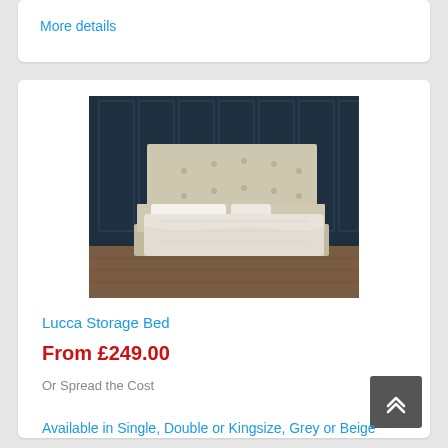More details
[Figure (photo): Lucca Storage Bed upholstered in beige/cream fabric with button-tufted headboard and white bedding, photographed against a dark navy panelled wall]
Lucca Storage Bed
From £249.00
Or Spread the Cost
Available in Single, Double or Kingsize, Grey or Beige